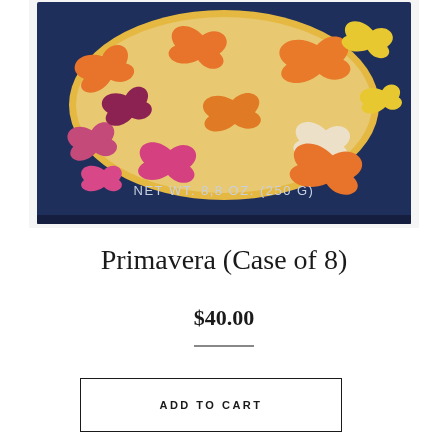[Figure (photo): A navy blue pasta box with a yellow oval window showing colorful farfalle (bow-tie) pasta pieces in orange, pink/purple, and cream/white colors. The box reads NET WT. 8,8 OZ. (250 G) at the bottom.]
Primavera (Case of 8)
$40.00
ADD TO CART